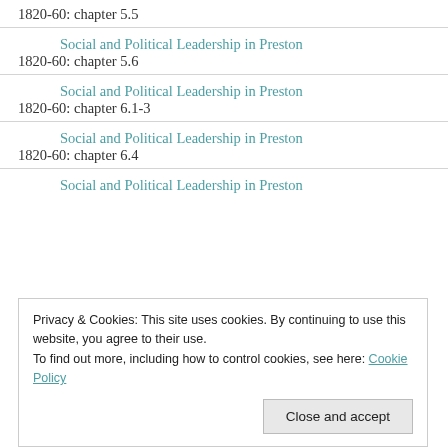1820-60: chapter 5.5
Social and Political Leadership in Preston 1820-60: chapter 5.6
Social and Political Leadership in Preston 1820-60: chapter 6.1-3
Social and Political Leadership in Preston 1820-60: chapter 6.4
Social and Political Leadership in Preston
Privacy & Cookies: This site uses cookies. By continuing to use this website, you agree to their use. To find out more, including how to control cookies, see here: Cookie Policy
Social and Political Leadership in Preston